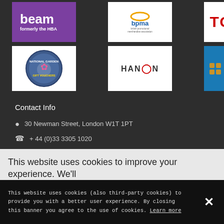[Figure (logo): Beam logo - formerly the HBA, purple background, white text]
[Figure (logo): BPMA - British Promotional Merchandise Association logo with crown icon]
[Figure (logo): TOMY logo in red on white background]
[Figure (logo): National Garden Gift Vouchers circular logo]
[Figure (logo): HANSON logo with red ring detail]
[Figure (logo): Greggs the bakers logo on blue background with orange dots]
Contact Info
30 Newman Street, London W1T 1PT
+ 44 (0)33 3305 1020
This website uses cookies to improve your experience. We'll
This website uses cookies (also third-party cookies) to provide you with a better user experience. By closing this banner you agree to the use of cookies. Learn more